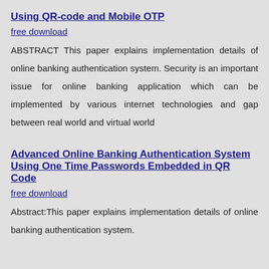Using QR-code and Mobile OTP
free download
ABSTRACT This paper explains implementation details of online banking authentication system. Security is an important issue for online banking application which can be implemented by various internet technologies and gap between real world and virtual world
Advanced Online Banking Authentication System Using One Time Passwords Embedded in QR Code
free download
Abstract:This paper explains implementation details of online banking authentication system.